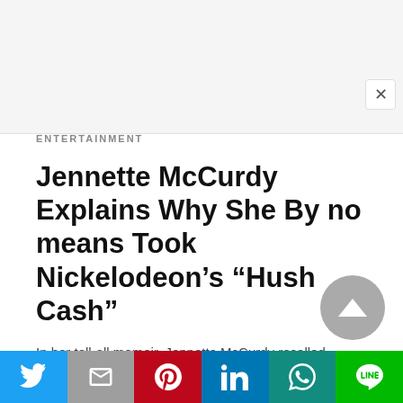[Figure (screenshot): Close X button in top right corner of a modal/overlay]
ENTERTAINMENT
Jennette McCurdy Explains Why She By no means Took Nickelodeon’s “Hush Cash”
In her tell-all memoir, Jennette McCurdy recalled exploitation and abuse throughout her years of Nickelodeon…
22 mins ago
[Figure (infographic): Gray circular scroll-to-top button with upward triangle arrow]
[Figure (infographic): Social share bar with Twitter, Gmail, Pinterest, LinkedIn, WhatsApp, and LINE buttons]